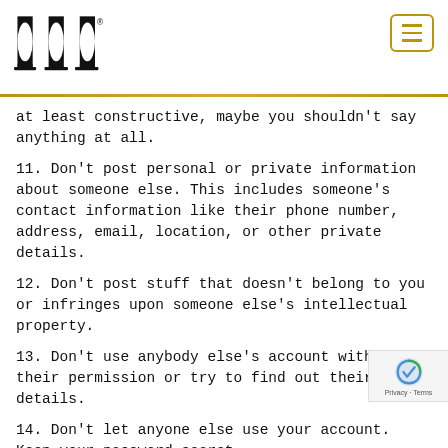MH Logo and navigation
at least constructive, maybe you shouldn't say anything at all.
11. Don't post personal or private information about someone else. This includes someone's contact information like their phone number, address, email, location, or other private details.
12. Don't post stuff that doesn't belong to you or infringes upon someone else's intellectual property.
13. Don't use anybody else's account without their permission or try to find out their login details.
14. Don't let anyone else use your account. Keep your password secret.
15. Don't set up an account with someone else's name, including a famous person or company. If you